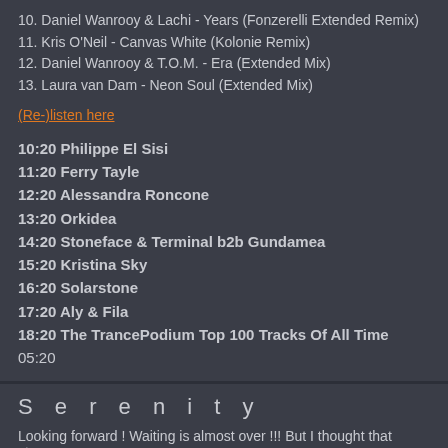10. Daniel Wanrooy & Lachi - Years (Fonzerelli Extended Remix)
11. Kris O'Neil - Canvas White (Kolonie Remix)
12. Daniel Wanrooy & T.O.M. - Era (Extended Mix)
13. Laura van Dam - Neon Soul (Extended Mix)
(Re-)listen here
10:20 Philippe El Sisi
11:20 Ferry Tayle
12:20 Alessandra Roncone
13:20 Orkidea
14:20 Stoneface & Terminal b2b Gundamea
15:20 Kristina Sky
16:20 Solarstone
17:20 Aly & Fila
18:20 The TrancePodium Top 100 Tracks Of All Time
05:20
S e r e n i t y
Looking forward ! Waiting is almost over !!! But I thought that stream w
Remco TrancePodium